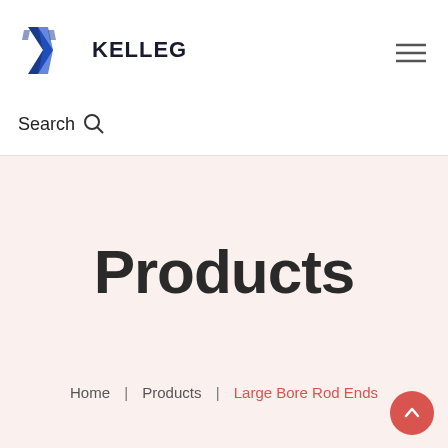KELLEG
Search
Products
Home | Products | Large Bore Rod Ends